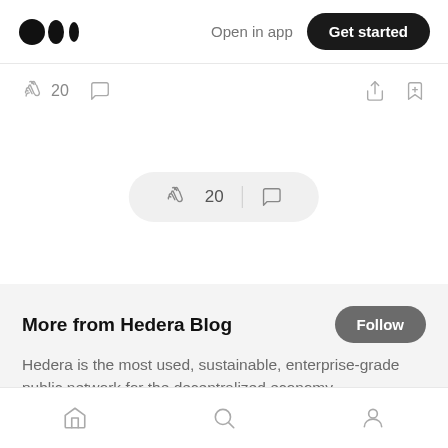Open in app  Get started
20
[Figure (screenshot): Floating pill with clap icon, count 20, divider, and comment icon]
More from Hedera Blog
Hedera is the most used, sustainable, enterprise-grade public network for the decentralized economy.
Hedera Team · Sep 24, 2020
Home  Search  Profile